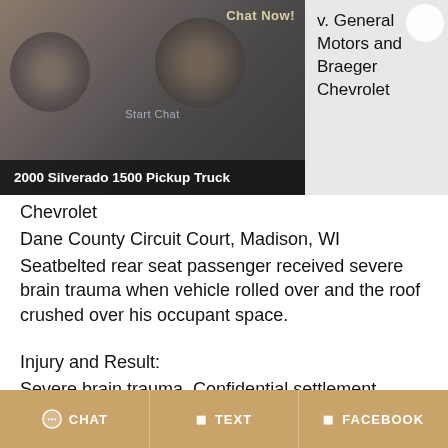[Figure (photo): Photo of a 2000 Silverado 1500 Pickup Truck with chat overlay buttons and 'Chat Now!' text]
v. General Motors and Braeger Chevrolet
Dane County Circuit Court, Madison, WI
Seatbelted rear seat passenger received severe brain trauma when vehicle rolled over and the roof crushed over his occupant space.
Injury and Result:
Severe brain trauma. Confidential settlement.
CHAT   TEXT   FACEBOOK